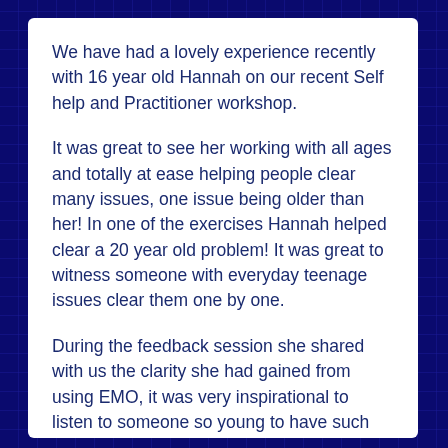We have had a lovely experience recently with 16 year old Hannah on our recent Self help and Practitioner workshop.
It was great to see her working with all ages and totally at ease helping people clear many issues, one issue being older than her! In one of the exercises Hannah helped clear a 20 year old problem! It was great to witness someone with everyday teenage issues clear them one by one.
During the feedback session she shared with us the clarity she had gained from using EMO, it was very inspirational to listen to someone so young to have such understanding to some complex emotional issues.
Hannah has had previous experience with EMO using it to help her through her GCSE's. Here is her